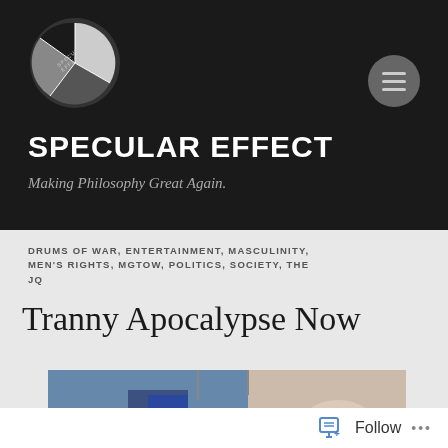[Figure (logo): Specular Effect circular logo with black and white geometric design]
SPECULAR EFFECT
Making Philosophy Great Again.
DRUMS OF WAR, ENTERTAINMENT, MASCULINITY, MEN'S RIGHTS, MGTOW, POLITICS, SOCIETY, THE JQ
Tranny Apocalypse Now
[Figure (photo): Partial photograph of what appears to be an indoor scene with flags or banners visible]
Follow ...